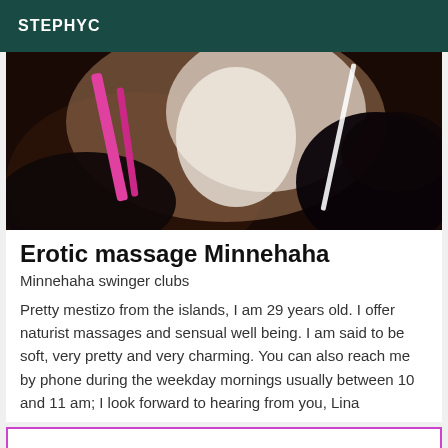STEPHYC
[Figure (photo): A blurred close-up photo of a person lying down wearing a dark top with pink straps, with white fabric and a bright light bar visible in the background.]
Erotic massage Minnehaha
Minnehaha swinger clubs
Pretty mestizo from the islands, I am 29 years old. I offer naturist massages and sensual well being. I am said to be soft, very pretty and very charming. You can also reach me by phone during the weekday mornings usually between 10 and 11 am; I look forward to hearing from you, Lina
[Figure (other): Bottom card with pink/magenta border, partially visible.]